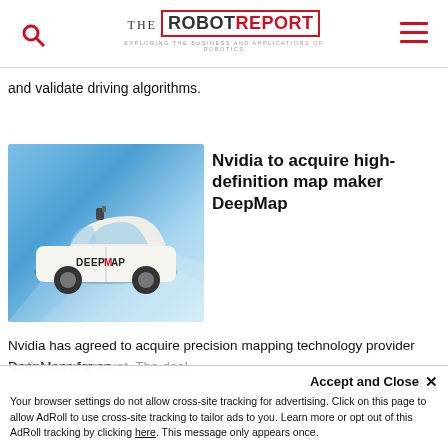THE ROBOT REPORT – EXPLORING THE BUSINESS AND APPLICATIONS OF ROBOTICS
and validate driving algorithms.
[Figure (photo): A white autonomous vehicle branded 'DeepMap' with sensor equipment on roof, on a light-blue geometric background]
Nvidia to acquire high-definition map maker DeepMap
Nvidia has agreed to acquire precision mapping technology provider DeepMaps for an undisclosed amount. The deal
Accept and Close ✕
Your browser settings do not allow cross-site tracking for advertising. Click on this page to allow AdRoll to use cross-site tracking to tailor ads to you. Learn more or opt out of this AdRoll tracking by clicking here. This message only appears once.